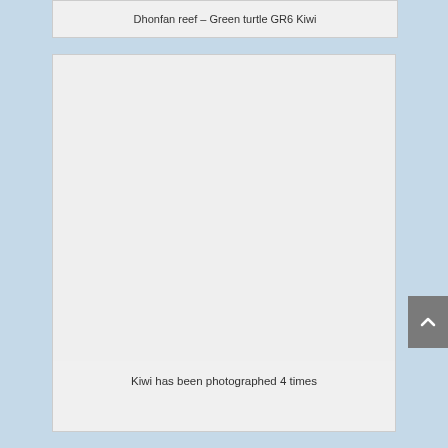Dhonfan reef – Green turtle GR6 Kiwi
[Figure (photo): Blank/empty photo placeholder area for green turtle GR6 Kiwi at Dhonfan reef]
Kiwi has been photographed 4 times